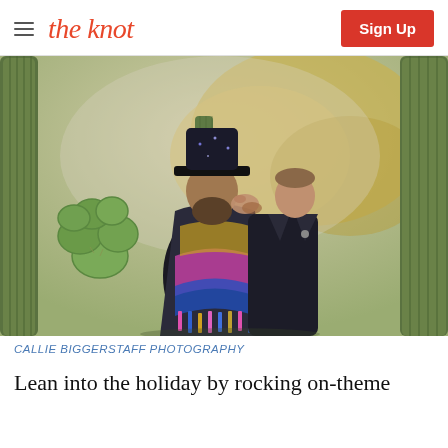the knot | Sign Up
[Figure (photo): Two men kissing outdoors among large saguaro cacti and prickly pear cacti. One man wears a colorful poncho and a black wide-brim hat; the other is in a dark jacket. Background shows golden desert foliage.]
CALLIE BIGGERSTAFF PHOTOGRAPHY
Lean into the holiday by rocking on-theme